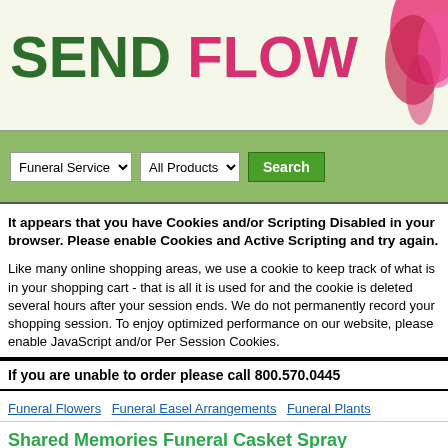[Figure (screenshot): Website header banner with 'SEND FLOWERS TODAY' text in green and pink on a light yellow-green background with pink tulip flower image on the right]
[Figure (screenshot): Green navigation search bar with 'Funeral Service' dropdown, 'All Products' dropdown, and green Search button]
It appears that you have Cookies and/or Scripting Disabled in your browser. Please enable Cookies and Active Scripting and try again.
Like many online shopping areas, we use a cookie to keep track of what is in your shopping cart - that is all it is used for and the cookie is deleted several hours after your session ends. We do not permanently record your shopping session. To enjoy optimized performance on our website, please enable JavaScript and/or Per Session Cookies.
If you are unable to order please call 800.570.0445
Funeral Flowers  Funeral Easel Arrangements  Funeral Plants
Shared Memories Funeral Casket Spray